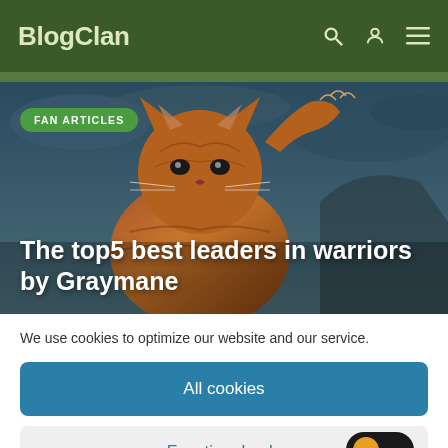BlogClan
[Figure (illustration): Hero image of a warrior cat illustrated digitally against a dark stormy sky background, with a green 'FAN ARTICLES' tag badge and large white title text overlay reading 'The top5 best leaders in warriors by Graymane']
The top5 best leaders in warriors by Graymane
We use cookies to optimize our website and our service.
All cookies
Functional only